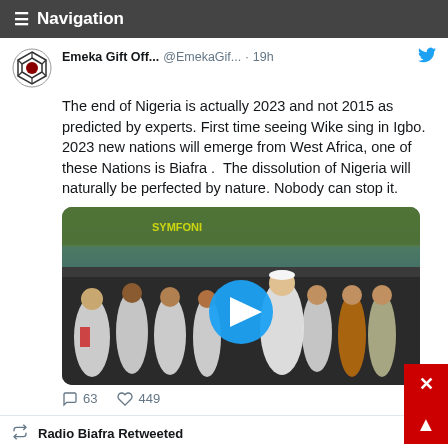≡ Navigation
Emeka Gift Off... @EmekaGif... · 19h
The end of Nigeria is actually 2023 and not 2015 as predicted by experts. First time seeing Wike sing in Igbo. 2023 new nations will emerge from West Africa, one of these Nations is Biafra .  The dissolution of Nigeria will naturally be perfected by nature. Nobody can stop it.
[Figure (photo): Video thumbnail showing a crowd of people in white clothing at what appears to be a rally or gathering, with a play button overlay]
63   449
Radio Biafra Retweeted